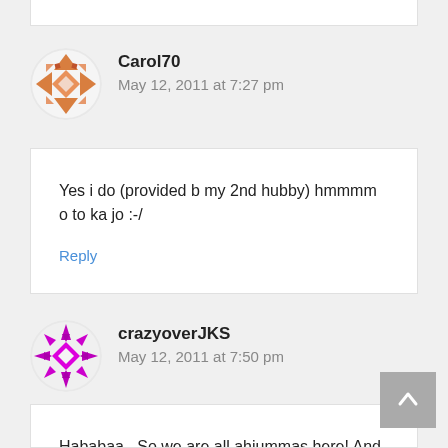Carol70
May 12, 2011 at 7:27 pm
Yes i do (provided b my 2nd hubby) hmmmm o to ka jo :-/
Reply
crazyoverJKS
May 12, 2011 at 7:50 pm
Hahahaa.. So we are all ahjummas here! And we need